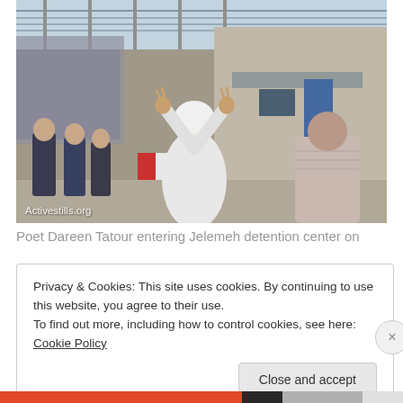[Figure (photo): Poet Dareen Tatour making peace signs with both hands as she enters Jelemeh detention center. She is dressed in white with a white headscarf. Several uniformed guards stand to the left. A man in a striped shirt stands with his back to the camera on the right. A prison wall with barbed wire is visible in the background. Watermark reads 'Activestills.org'.]
Poet Dareen Tatour entering Jelemeh detention center on
Privacy & Cookies: This site uses cookies. By continuing to use this website, you agree to their use.
To find out more, including how to control cookies, see here: Cookie Policy